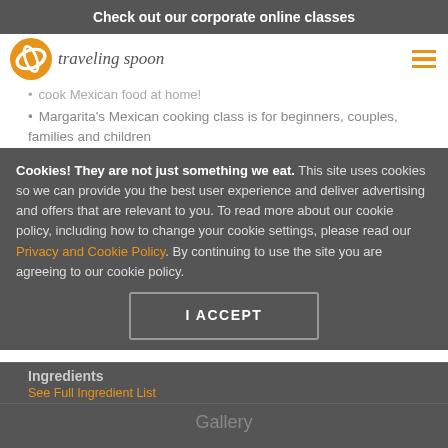Check out our corporate online classes
[Figure (logo): Traveling Spoon logo with orange circle and cursive text]
cook Mexican food at home!
Margarita's Mexican cooking class is for beginners, couples, families and children
What will you cook together
Private Mexican online cooking class menu:
Albondigas al Chipotle: traditional Mexican meatballs smothered in a chipotle sauce
Mexican bites
Cookies! They are not just something we eat. This site uses cookies so we can provide you the best user experience and deliver advertising and offers that are relevant to you. To read more about our cookie policy, including how to change your cookie settings, please read our Privacy and Cookie Policy. By continuing to use the site you are agreeing to our cookie policy.
I ACCEPT
Ingredients
See Full Ingredient List
Gallery